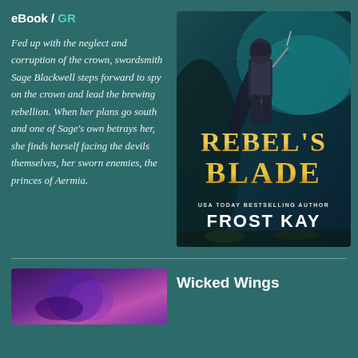eBook / GR
Fed up with the neglect and corruption of the crown, swordsmith Sage Blackwell steps forward to spy on the crown and lead the brewing rebellion. When her plans go south and one of Sage's own betrays her, she finds herself facing the devils themselves, her sworn enemies, the princes of Aermia.
[Figure (illustration): Book cover for 'Rebel's Blade' by Frost Kay (USA Today Bestselling Author). Shows a warrior figure in dark armor against a teal/dark fantasy background with the title in large gold letters.]
Wicked Wings